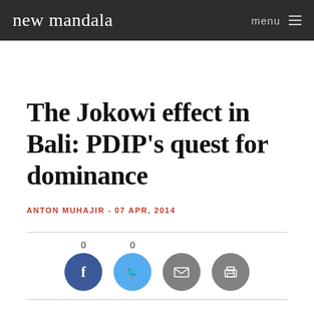new mandala  menu
The Jokowi effect in Bali: PDIP’s quest for dominance
ANTON MUHAJIR - 07 APR, 2014
[Figure (other): Social share buttons: Facebook (0), Twitter (0), Email, Print]
The news of Joko Widodo’s nomination as the